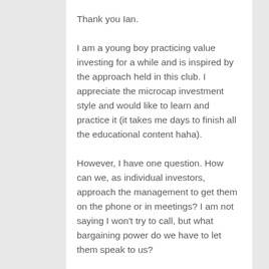Thank you Ian.
I am a young boy practicing value investing for a while and is inspired by the approach held in this club. I appreciate the microcap investment style and would like to learn and practice it (it takes me days to finish all the educational content haha).
However, I have one question. How can we, as individual investors, approach the management to get them on the phone or in meetings? I am not saying I won't try to call, but what bargaining power do we have to let them speak to us?